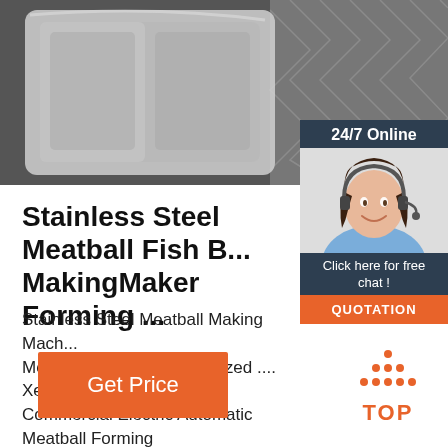[Figure (photo): Product photo showing stainless steel meatball maker/forming tray with chevron pattern background, black and white]
[Figure (photo): Customer support widget: 24/7 Online banner with woman wearing headset, 'Click here for free chat!' text and QUOTATION button]
Stainless Steel Meatball Fish B... MakingMaker Forming ...
Stainless Steel Meatball Making Mach... Meatball Maker, different sized .... Xed... Commercial Electric Automatic Meatball Forming Machine 230... Send Inquiry Online Chat
[Figure (other): Orange Get Price button]
[Figure (other): Orange TOP back-to-top button with dot pattern]